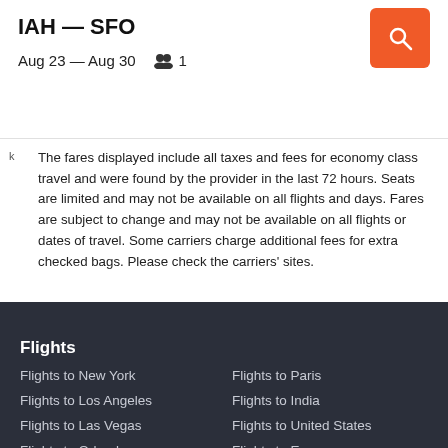IAH — SFO
Aug 23 — Aug 30   👥 1
k The fares displayed include all taxes and fees for economy class travel and were found by the provider in the last 72 hours. Seats are limited and may not be available on all flights and days. Fares are subject to change and may not be available on all flights or dates of travel. Some carriers charge additional fees for extra checked bags. Please check the carriers' sites.
Flights
Flights to New York
Flights to Paris
Flights to Los Angeles
Flights to India
Flights to Las Vegas
Flights to United States
Flights to Orlando
Flights to Europe